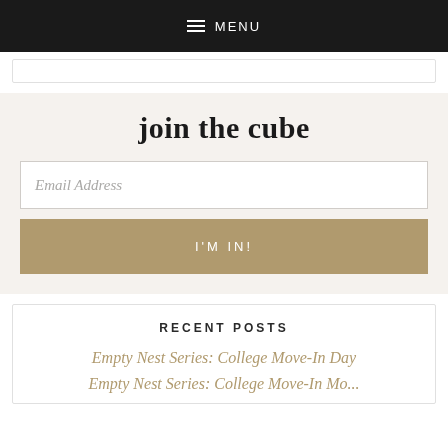MENU
join the cube
Email Address
I'M IN!
RECENT POSTS
Empty Nest Series: College Move-In Day